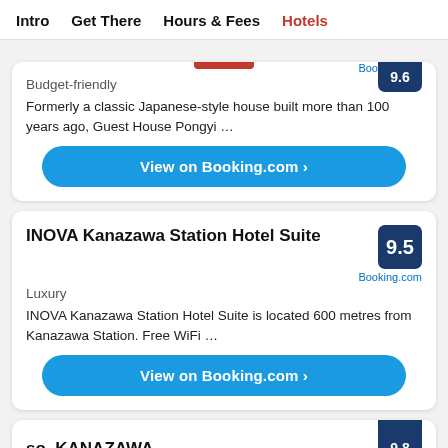Intro  Get There  Hours & Fees  Hotels
Budget-friendly
Formerly a classic Japanese-style house built more than 100 years ago, Guest House Pongyi …
View on Booking.com ›
INOVA Kanazawa Station Hotel Suite
9.5
Booking.com
Luxury
INOVA Kanazawa Station Hotel Suite is located 600 metres from Kanazawa Station. Free WiFi …
View on Booking.com ›
so, KANAZAWA
Mid-range
Located in Kanazawa, 2.1 km from Kanazawa Castle, so, KANAZAWA provides rooms with air …